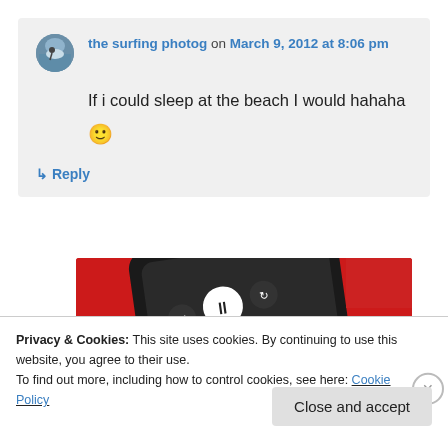the surfing photog on March 9, 2012 at 8:06 pm
If i could sleep at the beach I would hahaha 🙂
↳ Reply
[Figure (photo): Red smartphone with media player controls on screen, on a red background]
Privacy & Cookies: This site uses cookies. By continuing to use this website, you agree to their use.
To find out more, including how to control cookies, see here: Cookie Policy
Close and accept